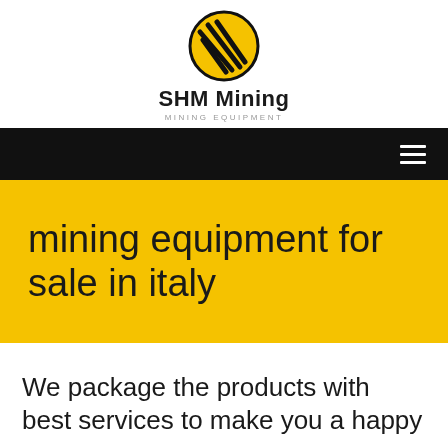[Figure (logo): SHM Mining logo: yellow oval with black diagonal stripe lines forming an abstract shape]
SHM Mining
MINING EQUIPMENT
[Figure (other): Black navigation bar with hamburger menu icon on the right]
mining equipment for sale in italy
We package the products with best services to make you a happy